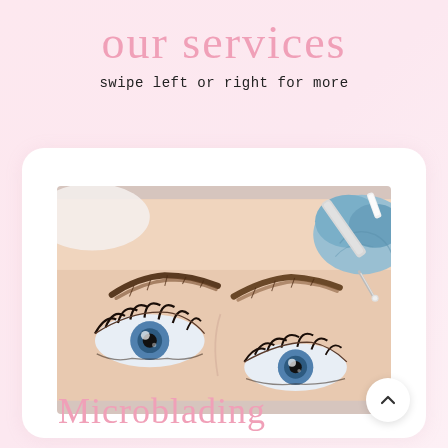our services
swipe left or right for more
[Figure (photo): Close-up of a woman's blue eyes and defined brows with a gloved hand performing a microblading procedure using a small tool near the eyebrow]
Microblading